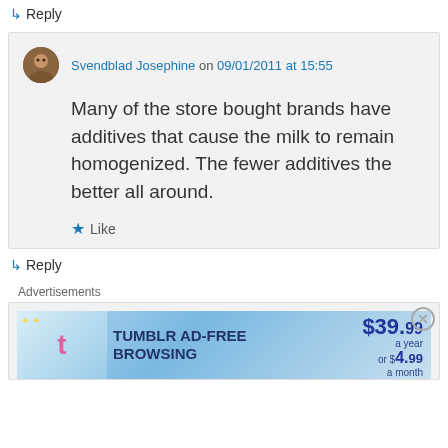↳ Reply
Svendblad Josephine on 09/01/2011 at 15:55
Many of the store bought brands have additives that cause the milk to remain homogenized. The fewer additives the better all around.
★ Like
↳ Reply
Advertisements
[Figure (illustration): Tumblr Ad-Free Browsing advertisement banner showing $39.99 a year or $4.99 a month]